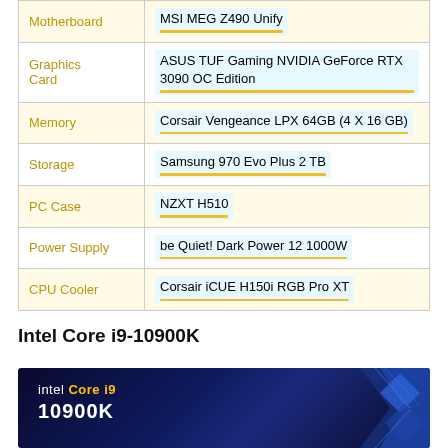| Component | Model |
| --- | --- |
| Motherboard | MSI MEG Z490 Unify |
| Graphics Card | ASUS TUF Gaming NVIDIA GeForce RTX 3090 OC Edition |
| Memory | Corsair Vengeance LPX 64GB (4 X 16 GB) |
| Storage | Samsung 970 Evo Plus 2 TB |
| PC Case | NZXT H510 |
| Power Supply | be Quiet! Dark Power 12 1000W |
| CPU Cooler | Corsair iCUE H150i RGB Pro XT |
Intel Core i9-10900K
[Figure (photo): Intel Core i9 10900K processor marketing image with dark blue background and geometric chip design on the right]